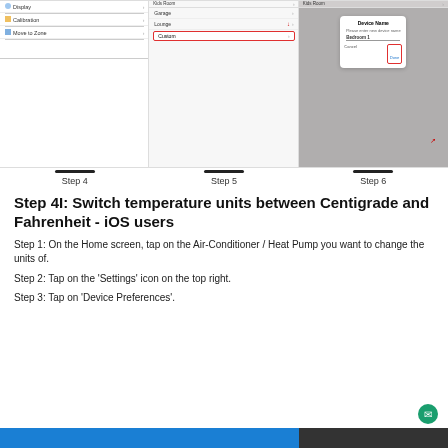[Figure (screenshot): Three mobile app screenshots showing Steps 4, 5, and 6 of a process. Step 4 shows Display, Calibration, Move to Zone menu. Step 5 shows Kids Room, Garage, Lounge, Custom zone list with Custom highlighted in red box. Step 6 shows Kids Room header with Device Name dialog box containing Bedroom 1 text, Cancel and Done buttons with Done highlighted in red box.]
Step 4    Step 5    Step 6
Step 4I: Switch temperature units between Centigrade and Fahrenheit - iOS users
Step 1: On the Home screen, tap on the Air-Conditioner / Heat Pump you want to change the units of.
Step 2: Tap on the 'Settings' icon on the top right.
Step 3: Tap on 'Device Preferences'.